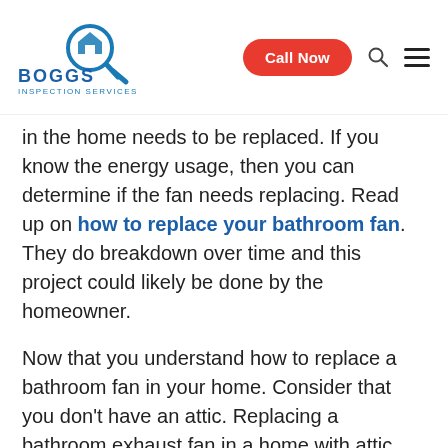Boggs Inspection Services — Call Now
in the home needs to be replaced. If you know the energy usage, then you can determine if the fan needs replacing. Read up on how to replace your bathroom fan. They do breakdown over time and this project could likely be done by the homeowner.
Now that you understand how to replace a bathroom fan in your home. Consider that you don't have an attic. Replacing a bathroom exhaust fan in a home with attic space is fairly easy as you have room to work. However, it can be quite tricky to